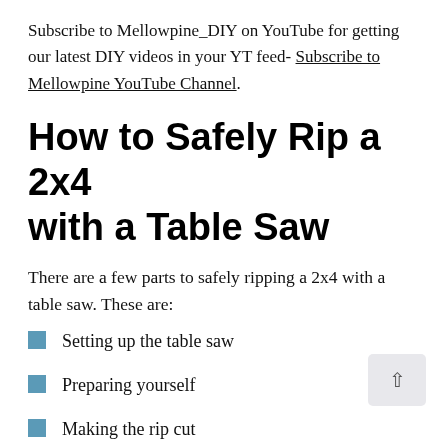Subscribe to Mellowpine_DIY on YouTube for getting our latest DIY videos in your YT feed- Subscribe to Mellowpine YouTube Channel.
How to Safely Rip a 2x4 with a Table Saw
There are a few parts to safely ripping a 2x4 with a table saw. These are:
Setting up the table saw
Preparing yourself
Making the rip cut